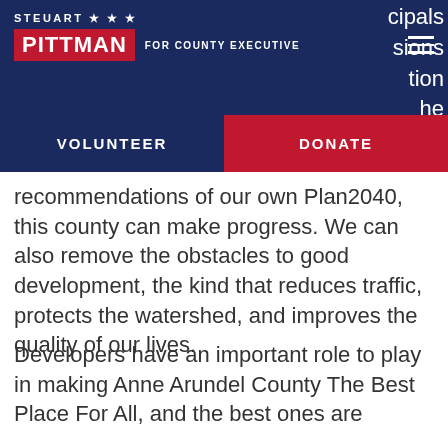STEUART ★ ★ ★ PITTMAN FOR COUNTY EXECUTIVE
VOLUNTEER
DONATE
recommendations of our own Plan2040, this county can make progress. We can also remove the obstacles to good development, the kind that reduces traffic, protects the watershed, and improves the quality of our lives.
Developers have an important role to play in making Anne Arundel County The Best Place For All, and the best ones are